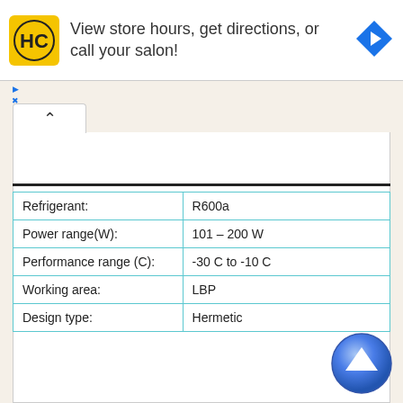[Figure (other): Advertisement banner: HC logo (yellow/black) with text 'View store hours, get directions, or call your salon!' and a blue navigation arrow icon on the right]
| Refrigerant: | R600a |
| Power range(W): | 101 – 200 W |
| Performance range (C): | -30 C to -10 C |
| Working area: | LBP |
| Design type: | Hermetic |